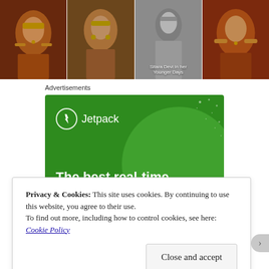[Figure (photo): Four photos in a horizontal strip: Indian classical dancers/performers with ornate jewelry and costumes. The third photo has a caption 'Sitara Devi in her Younger Days'.]
Sitara Devi in her Younger Days
Advertisements
[Figure (illustration): Jetpack advertisement banner on green background. Shows Jetpack logo (lightning bolt in circle) and text 'The best real-time WordPress backup plugin']
Privacy & Cookies: This site uses cookies. By continuing to use this website, you agree to their use.
To find out more, including how to control cookies, see here: Cookie Policy
Close and accept